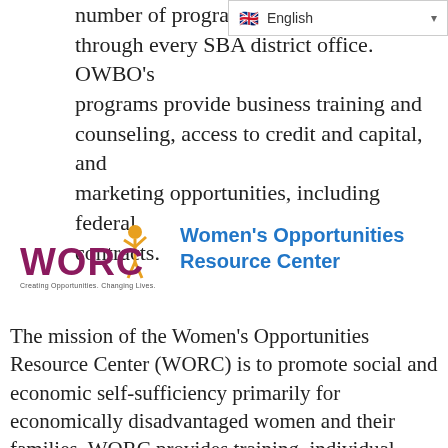number of programs that a through every SBA district office. OWBO's programs provide business training and counseling, access to credit and capital, and marketing opportunities, including federal contracts.
[Figure (logo): WORC logo - Women's Opportunities Resource Center, with a stylized figure and text 'Creating Opportunities, Changing Lives']
Women's Opportunities Resource Center
The mission of the Women's Opportunities Resource Center (WORC) is to promote social and economic self-sufficiency primarily for economically disadvantaged women and their families. WORC provides training, individual business assistance, incentive savings program, job placement, and access to business and financial resources. WORC empowers its constituents